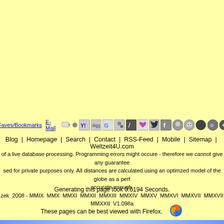Faves/Bookmarks  E-Mail  [icons row]
Blog | Homepage | Search | Contact | RSS-Feed | Mobile | Sitemap | Weltzeit4U.com
of a live database processing. Programming errors might occure - therefore we cannot give any guarantee sed for private purposes only. All distances are calculated using an optimzed model of the globe as a perf accurate enough. zek 2008 - MMIX MMX MMXI MMXII MMXIII MMXIV MMXV MMXVI MMXVII MMXVII MMXXII V1.098a
Generating this page took 0.6194 Seconds.
These pages can be best viewed with Firefox.
[Figure (logo): Firefox browser logo icon]